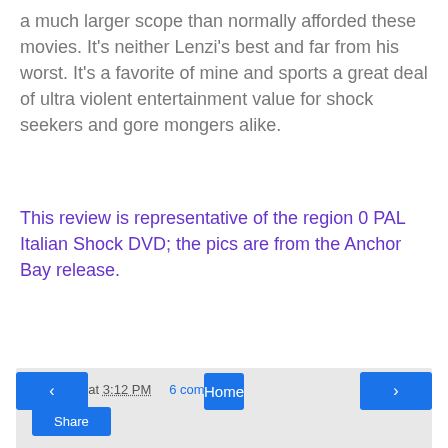a much larger scope than normally afforded these movies. It's neither Lenzi's best and far from his worst. It's a favorite of mine and sports a great deal of ultra violent entertainment value for shock seekers and gore mongers alike.
This review is representative of the region 0 PAL Italian Shock DVD; the pics are from the Anchor Bay release.
venoms5 at 3:12 PM   6 comments:
Share